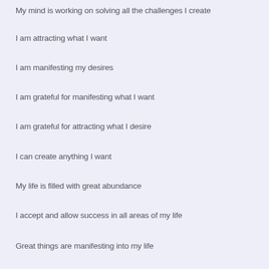My mind is working on solving all the challenges I create
I am attracting what I want
I am manifesting my desires
I am grateful for manifesting what I want
I am grateful for attracting what I desire
I can create anything I want
My life is filled with great abundance
I accept and allow success in all areas of my life
Great things are manifesting into my life